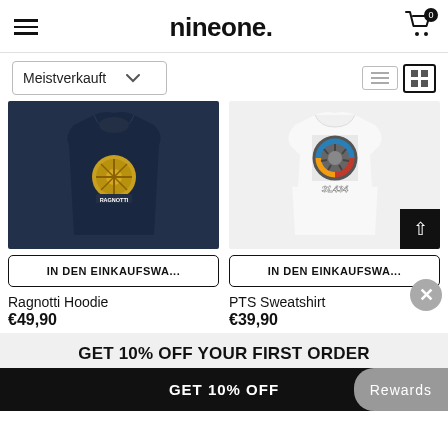nineone.
Meistverkauft
[Figure (photo): Navy blue Ragnotti Hoodie with golden graphic print on front]
IN DEN EINKAUFSWA...
[Figure (photo): White PTS Sweatshirt with colorful SL434 wheel graphic on front]
IN DEN EINKAUFSWA...
Ragnotti Hoodie
€49,90
PTS Sweatshirt
€39,90
GET 10% OFF YOUR FIRST ORDER
GET 10% OFF
Rewards